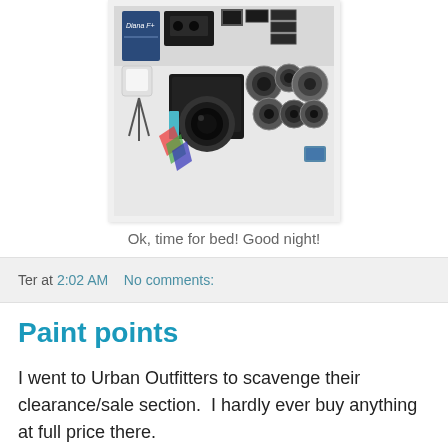[Figure (photo): Flat lay photograph of a Diana F+ camera with accessories including lenses, flash, film adapters, and other camera parts arranged on a white background]
Ok, time for bed! Good night!
Ter at 2:02 AM    No comments:
Paint points
I went to Urban Outfitters to scavenge their clearance/sale section.  I hardly ever buy anything at full price there.